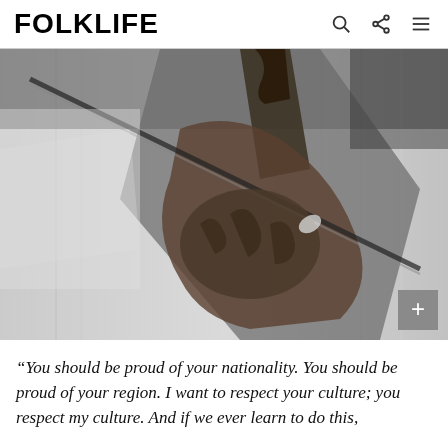FOLKLIFE
[Figure (photo): Close-up black and white photograph of a person playing a violin or fiddle, showing hands gripping the bow and instrument body, with a striped shirt visible in the background.]
“You should be proud of your nationality. You should be proud of your region. I want to respect your culture; you respect my culture. And if we ever learn to do this,